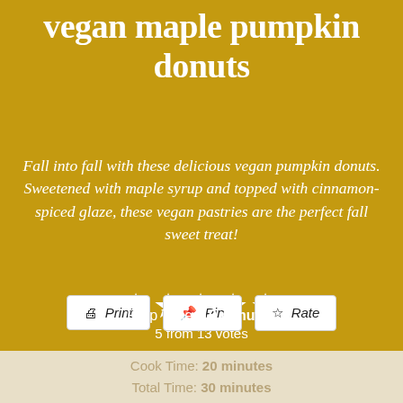vegan maple pumpkin donuts
Fall into fall with these delicious vegan pumpkin donuts. Sweetened with maple syrup and topped with cinnamon-spiced glaze, these vegan pastries are the perfect fall sweet treat!
5 from 13 votes
Print  Pin  Rate
Prep Time: 10 minutes
Cook Time: 20 minutes
Total Time: 30 minutes